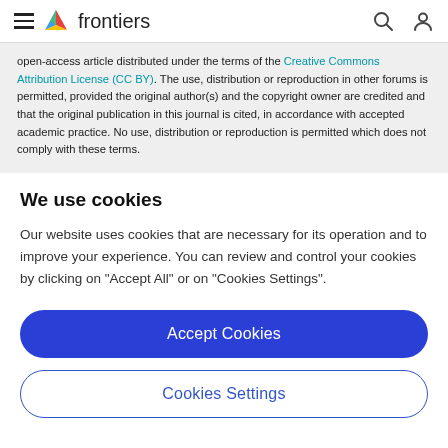frontiers
open-access article distributed under the terms of the Creative Commons Attribution License (CC BY). The use, distribution or reproduction in other forums is permitted, provided the original author(s) and the copyright owner are credited and that the original publication in this journal is cited, in accordance with accepted academic practice. No use, distribution or reproduction is permitted which does not comply with these terms.
We use cookies
Our website uses cookies that are necessary for its operation and to improve your experience. You can review and control your cookies by clicking on "Accept All" or on "Cookies Settings".
Accept Cookies
Cookies Settings